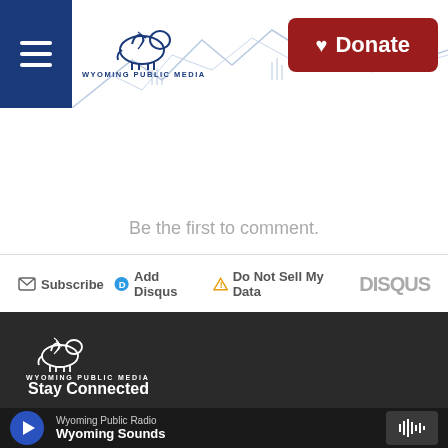[Figure (logo): Wyoming Public Media logo with bison and mountain skyline, hamburger menu button, and red Donate button in header]
Be the first to comment.
Subscribe  Add Disqus  Do Not Sell My Data  DISQUS
[Figure (logo): Wyoming Public Media white bison logo on dark footer background]
Stay Connected
Wyoming Public Radio
Wyoming Sounds